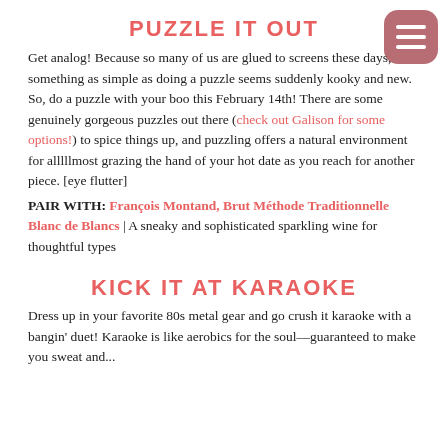PUZZLE IT OUT
Get analog! Because so many of us are glued to screens these days, something as simple as doing a puzzle seems suddenly kooky and new. So, do a puzzle with your boo this February 14th! There are some genuinely gorgeous puzzles out there (check out Galison for some options!) to spice things up, and puzzling offers a natural environment for alllllmost grazing the hand of your hot date as you reach for another piece. [eye flutter]
PAIR WITH: François Montand, Brut Méthode Traditionnelle Blanc de Blancs | A sneaky and sophisticated sparkling wine for thoughtful types
KICK IT AT KARAOKE
Dress up in your favorite 80s metal gear and go crush it karaoke with a bangin' duet! Karaoke is like aerobics for the soul—guaranteed to make you sweat and...